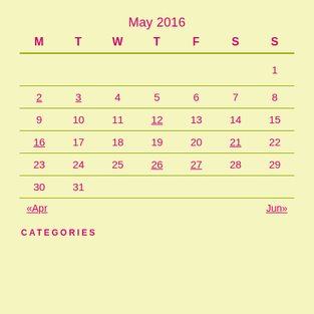May 2016
| M | T | W | T | F | S | S |
| --- | --- | --- | --- | --- | --- | --- |
|  |  |  |  |  |  | 1 |
| 2 | 3 | 4 | 5 | 6 | 7 | 8 |
| 9 | 10 | 11 | 12 | 13 | 14 | 15 |
| 16 | 17 | 18 | 19 | 20 | 21 | 22 |
| 23 | 24 | 25 | 26 | 27 | 28 | 29 |
| 30 | 31 |  |  |  |  |  |
«Apr    Jun»
CATEGORIES